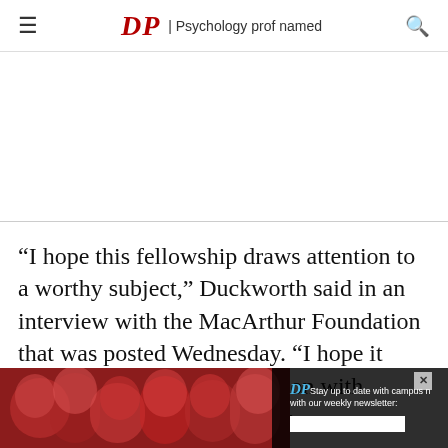DP | Psychology prof named
[Figure (other): White blank advertisement area]
“I hope this fellowship draws attention to a worthy subject,” Duckworth said in an interview with the MacArthur Foundation that was posted Wednesday. “I hope it balances out the preoccupation with cognitive tests and IQ scores
[Figure (photo): Advertisement banner at bottom showing people in red shirts celebrating, with DP logo and newsletter sign-up. Text reads: Stay up to date with campus news with our weekly newsletter:]